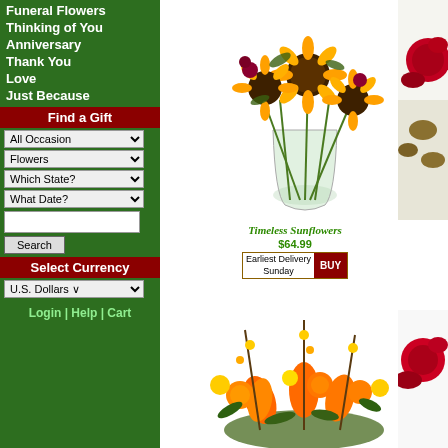Funeral Flowers
Thinking of You
Anniversary
Thank You
Love
Just Because
Find a Gift
All Occasion [dropdown]
Flowers [dropdown]
Which State? [dropdown]
What Date? [dropdown]
[Search input] Search button
Select Currency
U.S. Dollars [dropdown]
Login | Help | Cart
[Figure (photo): Bouquet of sunflowers in a glass vase]
Timeless Sunflowers
$64.99
Earliest Delivery Sunday BUY
[Figure (photo): Orange and yellow floral arrangement with lilies and carnations]